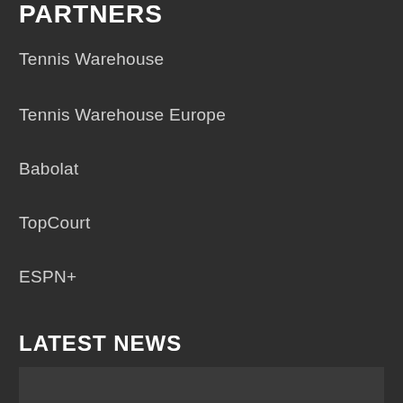PARTNERS
Tennis Warehouse
Tennis Warehouse Europe
Babolat
TopCourt
ESPN+
LATEST NEWS
[Figure (photo): Partially visible image placeholder at the bottom of the page]